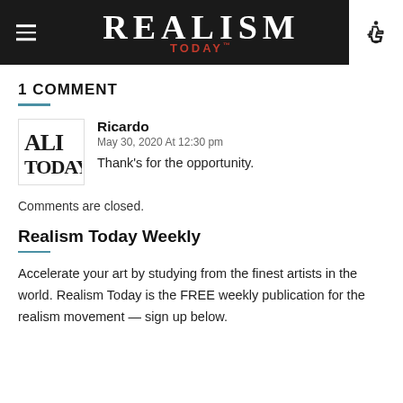REALISM TODAY
1 COMMENT
Ricardo
May 30, 2020 At 12:30 pm
Thank's for the opportunity.
Comments are closed.
Realism Today Weekly
Accelerate your art by studying from the finest artists in the world. Realism Today is the FREE weekly publication for the realism movement — sign up below.